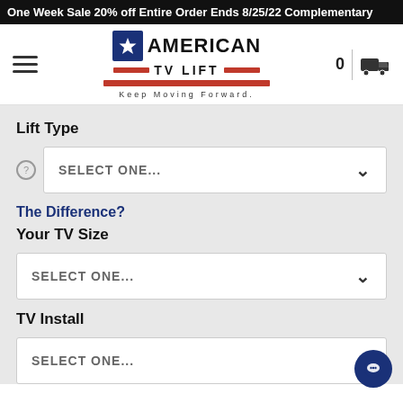One Week Sale 20% off Entire Order Ends 8/25/22 Complementary
[Figure (logo): American TV Lift logo with blue star box, red bars, and tagline 'Keep Moving Forward.']
Lift Type
SELECT ONE...
The Difference?
Your TV Size
SELECT ONE...
TV Install
SELECT ONE...